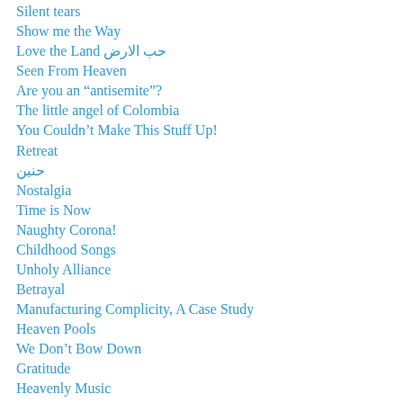Silent tears
Show me the Way
Love the Land حب الارض
Seen From Heaven
Are you an “antisemite”?
The little angel of Colombia
You Couldn’t Make This Stuff Up!
Retreat
حنين
Nostalgia
Time is Now
Naughty Corona!
Childhood Songs
Unholy Alliance
Betrayal
Manufacturing Complicity, A Case Study
Heaven Pools
We Don’t Bow Down
Gratitude
Heavenly Music